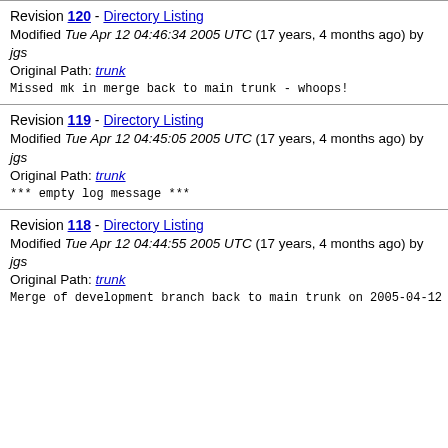Revision 120 - Directory Listing
Modified Tue Apr 12 04:46:34 2005 UTC (17 years, 4 months ago) by jgs
Original Path: trunk
Missed mk in merge back to main trunk - whoops!
Revision 119 - Directory Listing
Modified Tue Apr 12 04:45:05 2005 UTC (17 years, 4 months ago) by jgs
Original Path: trunk
*** empty log message ***
Revision 118 - Directory Listing
Modified Tue Apr 12 04:44:55 2005 UTC (17 years, 4 months ago) by jgs
Original Path: trunk
Merge of development branch back to main trunk on 2005-04-12